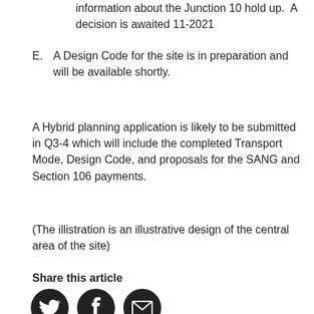D. Taylor Wimpey are have not added any further information about the Junction 10 hold up.  A decision is awaited 11-2021
E. A Design Code for the site is in preparation and will be available shortly.
A Hybrid planning application is likely to be submitted in Q3-4 which will include the completed Transport Mode, Design Code, and proposals for the SANG and Section 106 payments.
(The illistration is an illustrative design of the central area of the site)
Share this article
[Figure (infographic): Three social media share icons: Twitter bird icon, Facebook f icon, and envelope/email icon, all in dark circular buttons]